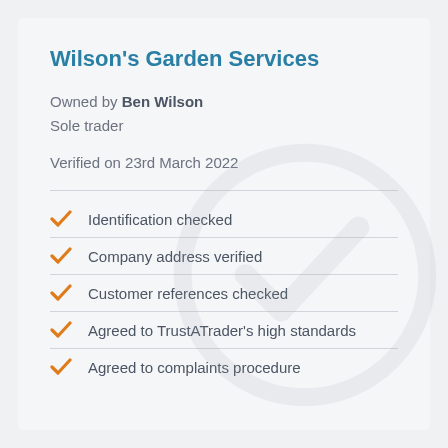Wilson’s Garden Services
Owned by Ben Wilson
Sole trader
Verified on 23rd March 2022
Identification checked
Company address verified
Customer references checked
Agreed to TrustATrader's high standards
Agreed to complaints procedure